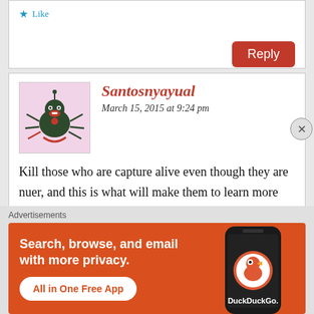Like
Reply
Santosnyayual
March 15, 2015 at 9:24 pm
[Figure (illustration): Avatar image of a cartoon character resembling a dark green spider-like figure with a red mouth, on a pink background]
Kill those who are capture alive even though they are nuer, and this is what will make them to learn more than what they do now
Like
Advertisements
[Figure (screenshot): DuckDuckGo advertisement banner: orange background with text 'Search, browse, and email with more privacy. All in One Free App' and an image of a smartphone with the DuckDuckGo logo]